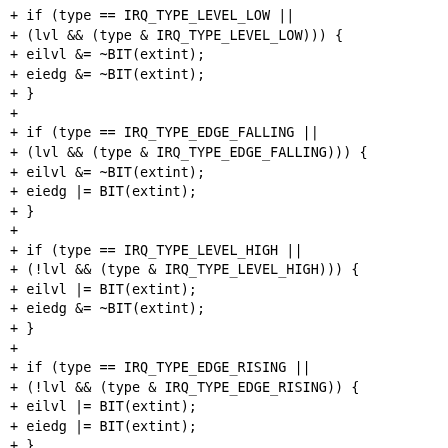+ if (type == IRQ_TYPE_LEVEL_LOW ||
+ (lvl && (type & IRQ_TYPE_LEVEL_LOW))) {
+ eilvl &= ~BIT(extint);
+ eiedg &= ~BIT(extint);
+ }
+
+ if (type == IRQ_TYPE_EDGE_FALLING ||
+ (lvl && (type & IRQ_TYPE_EDGE_FALLING))) {
+ eilvl &= ~BIT(extint);
+ eiedg |= BIT(extint);
+ }
+
+ if (type == IRQ_TYPE_LEVEL_HIGH ||
+ (!lvl && (type & IRQ_TYPE_LEVEL_HIGH))) {
+ eilvl |= BIT(extint);
+ eiedg &= ~BIT(extint);
+ }
+
+ if (type == IRQ_TYPE_EDGE_RISING ||
+ (!lvl && (type & IRQ_TYPE_EDGE_RISING)) {
+ eilvl |= BIT(extint);
+ eiedg |= BIT(extint);
+ }
+
+ /* Mask the interrupt */
+ val = readl_relaxed(pctl->exiu + EIMASK);